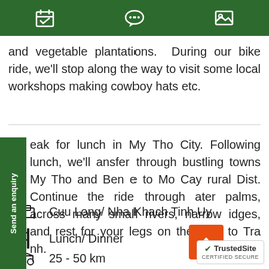Navigation header with calendar, chat, and image icons
and vegetable plantations. During our bike ride, we'll stop along the way to visit some local workshops making cowboy hats etc.
eak for lunch in My Tho City. Following lunch, we'll ansfer through bustling towns My Tho and Ben e to Mo Cay rural Dist. Continue the ride through ater palms, across many small rivers, narrow idges, and rest for your legs on the ferry to Tra nh.
Cuu Long/ Nha Khach Tinh Uy
Lunch/ Dinner
25 - 50 km